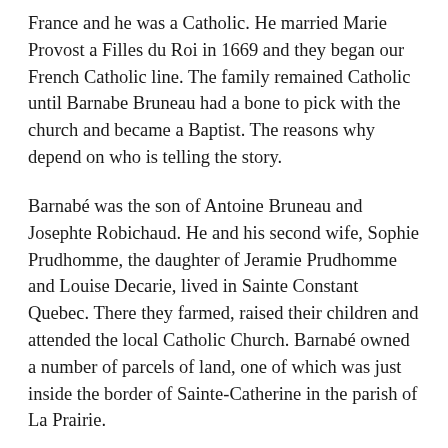France and he was a Catholic. He married Marie Provost a Filles du Roi in 1669 and they began our French Catholic line. The family remained Catholic until Barnabe Bruneau had a bone to pick with the church and became a Baptist. The reasons why depend on who is telling the story.
Barnabé was the son of Antoine Bruneau and Josephte Robichaud. He and his second wife, Sophie Prudhomme, the daughter of Jeramie Prudhomme and Louise Decarie, lived in Sainte Constant Quebec. There they farmed, raised their children and attended the local Catholic Church. Barnabé owned a number of parcels of land, one of which was just inside the border of Sainte-Catherine in the parish of La Prairie.
In 1856 when the church was collecting the tithe due them from his land, both parishes wanted their tax. Barnabé refused to pay the Curé of Sainte-Catherine. He tried to stop his tithe obligation, by telling the Curé he was leaving the Catholic Church, but they